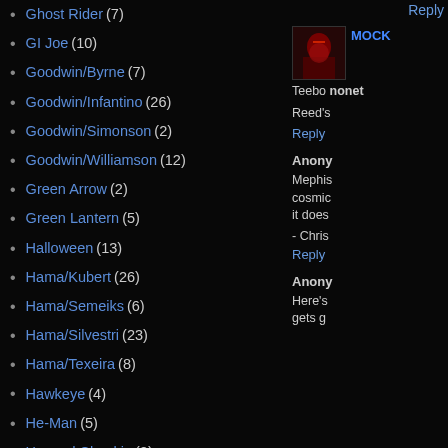Ghost Rider (7)
GI Joe (10)
Goodwin/Byrne (7)
Goodwin/Infantino (26)
Goodwin/Simonson (2)
Goodwin/Williamson (12)
Green Arrow (2)
Green Lantern (5)
Halloween (13)
Hama/Kubert (26)
Hama/Semeiks (6)
Hama/Silvestri (23)
Hama/Texeira (8)
Hawkeye (4)
He-Man (5)
Howard Chaykin (2)
Howard Mackie (14)
Hulk (13)
Ian Churchill (1)
Incredible Hulk (9)
Iron Man (12)
J.M. DeMatteis (7)
Reply
MOCK
Teebo noneth
Reed's
Reply
Anony
Mephis cosmic it does
- Chris
Reply
Anony
Here's gets g